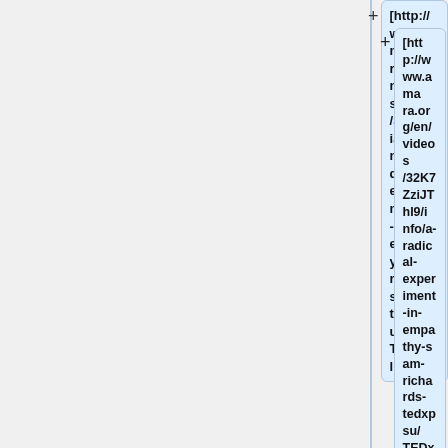[http://www.amara.org/en/videos/32K7ZziJThI9/info/a-radical-experiment-in-empathy-sam-richards-tedxpsu/TEDxTalk]
'''Daniel Kraft: Medicine's future? There's an app for that'''
[http://www.amara.org/en/videos/ENZNv4rv3v3q/info/medicines-future-theres-an-app-for-that/